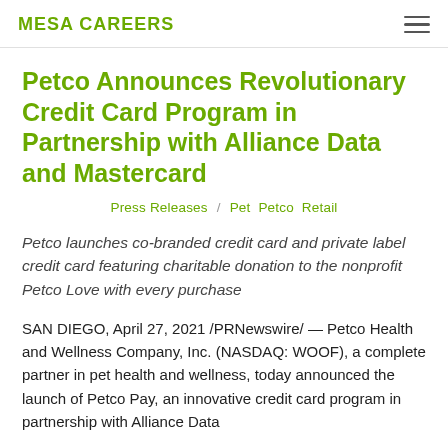MESA CAREERS
Petco Announces Revolutionary Credit Card Program in Partnership with Alliance Data and Mastercard
Press Releases / Pet Petco Retail
Petco launches co-branded credit card and private label credit card featuring charitable donation to the nonprofit Petco Love with every purchase
SAN DIEGO, April 27, 2021 /PRNewswire/ — Petco Health and Wellness Company, Inc. (NASDAQ: WOOF), a complete partner in pet health and wellness, today announced the launch of Petco Pay, an innovative credit card program in partnership with Alliance Data